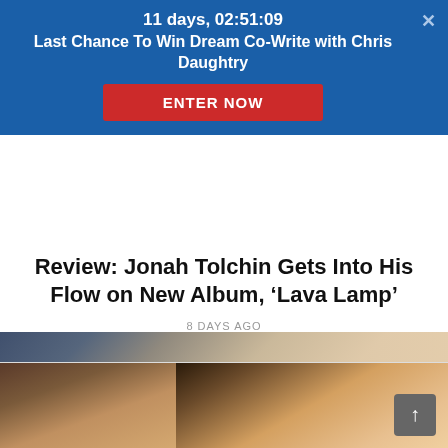11 days, 02:51:09
Last Chance To Win Dream Co-Write with Chris Daughtry
ENTER NOW
[Figure (photo): Photo of hands playing an electric guitar, close-up view]
Review: Jonah Tolchin Gets Into His Flow on New Album, ‘Lava Lamp’
8 DAYS AGO
[Figure (photo): Two-panel photo collage: left panel shows a person playing a brass instrument; right panel shows a close-up of a person's face with ambient warm orange light]